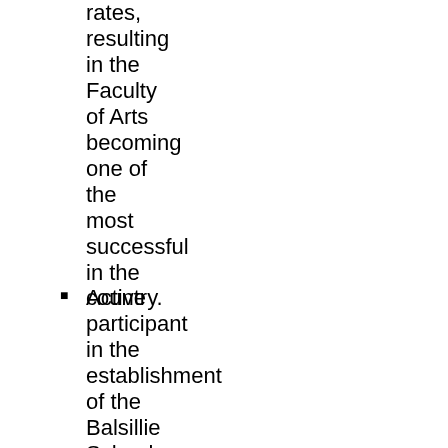rates, resulting in the Faculty of Arts becoming one of the most successful in the country.
Active participant in the establishment of the Balsillie School of International Affairs.